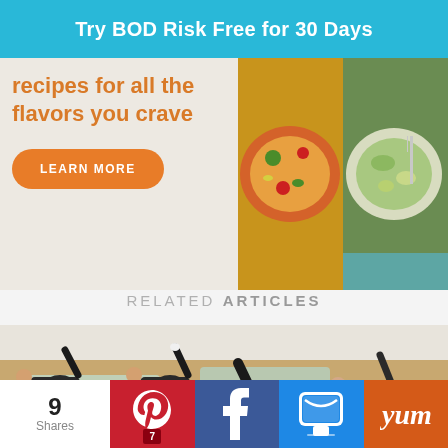Try BOD Risk Free for 30 Days
[Figure (photo): Advertisement banner with orange text 'recipes for all the flavors you crave', a Learn More button, and food photos on the right]
RELATED ARTICLES
[Figure (photo): Group of people doing Pilates/yoga exercises on mats in a studio, lying on their backs with legs raised]
9 Shares | Pinterest 7 | Facebook | SMS | Yum